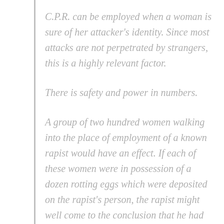C.P.R. can be employed when a woman is sure of her attacker's identity. Since most attacks are not perpetrated by strangers, this is a highly relevant factor.
There is safety and power in numbers.
A group of two hundred women walking into the place of employment of a known rapist would have an effect. If each of these women were in possession of a dozen rotting eggs which were deposited on the rapist's person, the rapist might well come to the conclusion that he had committed a very unpopular act, one which was not tolerated by the community. If a rapist had